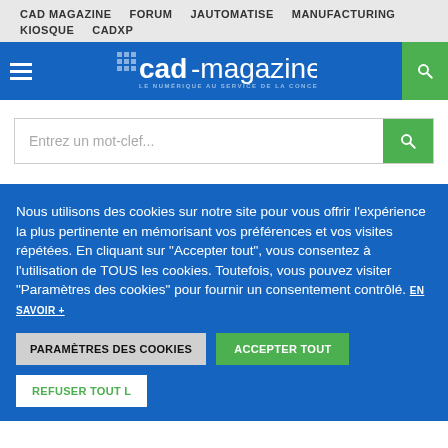CAD MAGAZINE  FORUM  JAUTOMATISE  MANUFACTURING  KIOSQUE  CADXP
[Figure (logo): CAD-magazine logo with blue background, hamburger menu icon on left, search icon on right in green box. Logo text reads 'cad-magazine' with subtitle 'LE NUMÉRIQUE AU SERVICE DE LA CONCEPTION']
Entrez un mot-clef...
Nous utilisons des cookies sur notre site pour vous offrir l'expérience la plus pertinente en mémorisant vos préférences et vos visites répétées. En cliquant sur "Accepter tout", vous consentez à l'utilisation de TOUS les cookies. Toutefois, vous pouvez visiter "Paramètres des cookies" pour fournir un consentement contrôlé. EN SAVOIR +
PARAMÈTRES DES COOKIES
ACCEPTER TOUT
REFUSER TOUT L